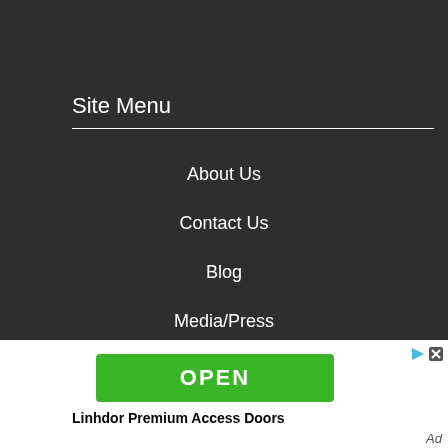Site Menu
About Us
Contact Us
Blog
Media/Press
Community Work
[Figure (other): Green OPEN button advertisement for Linhdor Premium Access Doors]
Linhdor Premium Access Doors
Ad